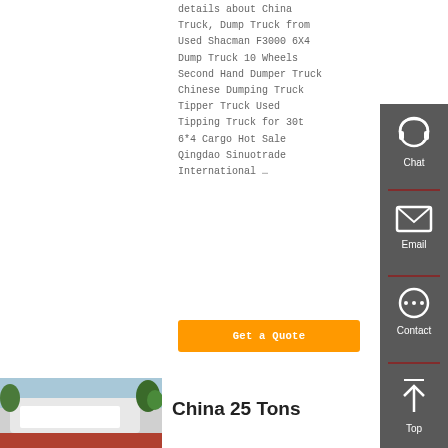details about China Truck, Dump Truck from Used Shacman F3000 6X4 Dump Truck 10 Wheels Second Hand Dumper Truck Chinese Dumping Truck Tipper Truck Used Tipping Truck for 30t 6*4 Cargo Hot Sale Qingdao Sinuotrade International …
[Figure (screenshot): Orange 'Get a Quote' button]
[Figure (photo): Photo of a white truck with blue sky and trees in the background]
China 25 Tons
[Figure (infographic): Dark grey sidebar with Chat, Email, Contact, and Top navigation icons]